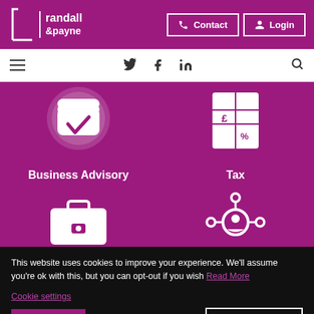[Figure (logo): Randall & Payne logo in white on purple background]
[Figure (screenshot): Website navigation header with Contact and Login buttons, social media icons (Twitter, Facebook, LinkedIn), hamburger menu, and search icon]
[Figure (infographic): Purple background with four service icons: Business Advisory (briefcase with checkmark), Tax (£ and % document), and two more service areas with a briefcase icon and a person/network icon]
Business Advisory
Tax
This website uses cookies to improve your experience. We'll assume you're ok with this, but you can opt-out if you wish Read More
Cookie settings
ACCEPT
Chat with us now